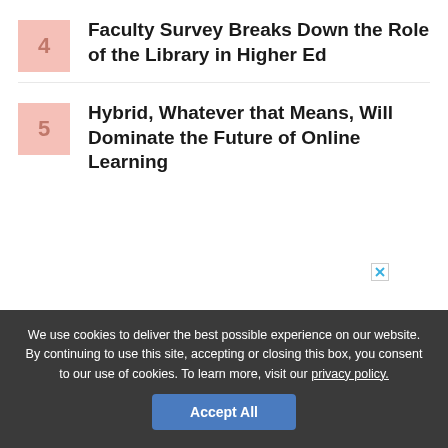4 Faculty Survey Breaks Down the Role of the Library in Higher Ed
5 Hybrid, Whatever that Means, Will Dominate the Future of Online Learning
[Figure (other): Canon advertisement banner with black background showing Canon logo in white serif text and a blue gradient bar at the bottom with a close (X) button]
We use cookies to deliver the best possible experience on our website. By continuing to use this site, accepting or closing this box, you consent to our use of cookies. To learn more, visit our privacy policy.